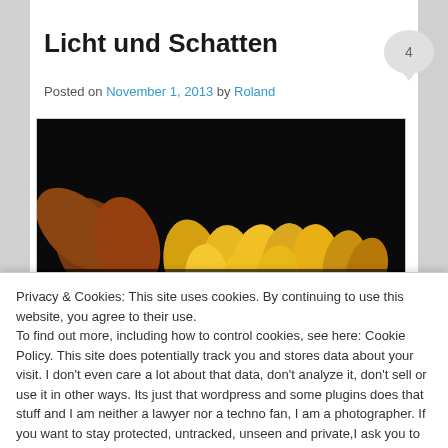Licht und Schatten
Posted on November 1, 2013 by Roland
[Figure (photo): Close-up photo of flowers (sunflowers/petals) against a dark black background, showing orange and yellow petals emerging from the bottom of the frame.]
Privacy & Cookies: This site uses cookies. By continuing to use this website, you agree to their use.
To find out more, including how to control cookies, see here: Cookie Policy. This site does potentially track you and stores data about your visit. I don't even care a lot about that data, don't analyze it, don't sell or use it in other ways. Its just that wordpress and some plugins does that stuff and I am neither a lawyer nor a techno fan, I am a photographer. If you want to stay protected, untracked, unseen and private,I ask you to stay away from this site and probably from the whole internet. Cookie Policy
Close and accept